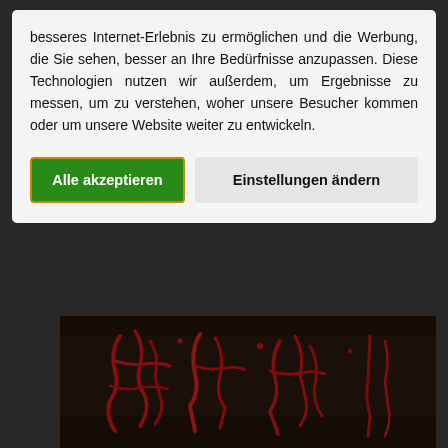[Figure (screenshot): Cookie consent dialog overlay on a dark website. Dialog has white/light-gray background with German text about internet experience and advertising personalization. Two buttons: green 'Alle akzeptieren' and gray 'Einstellungen ändern'. Below the dialog is a dark page background with a partially visible image showing red graffiti-style artwork.]
besseres Internet-Erlebnis zu ermöglichen und die Werbung, die Sie sehen, besser an Ihre Bedürfnisse anzupassen. Diese Technologien nutzen wir außerdem, um Ergebnisse zu messen, um zu verstehen, woher unsere Besucher kommen oder um unsere Website weiter zu entwickeln.